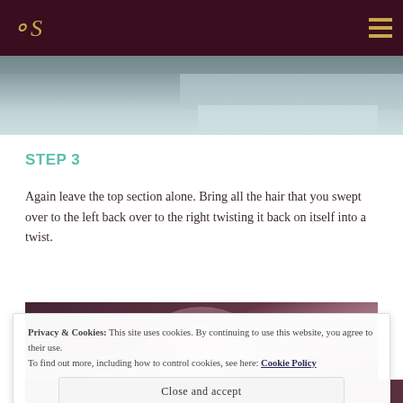S [logo] | hamburger menu
[Figure (photo): Top portion of a hair styling photo, showing light-colored hair/fabric]
STEP 3
Again leave the top section alone. Bring all the hair that you swept over to the left back over to the right twisting it back on itself into a twist.
[Figure (photo): Close-up photo of dark brown/maroon hair being twisted]
Privacy & Cookies: This site uses cookies. By continuing to use this website, you agree to their use.
To find out more, including how to control cookies, see here: Cookie Policy
Close and accept
[Figure (photo): Bottom strip of hair photo]